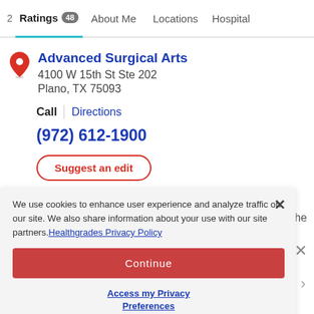Ratings 48  About Me  Locations  Hospital
Advanced Surgical Arts
4100 W 15th St Ste 202
Plano, TX 75093
Call  |  Directions
(972) 612-1900
Suggest an edit
We use cookies to enhance user experience and analyze traffic on our site. We also share information about your use with our site partners. Healthgrades Privacy Policy
Continue
Access my Privacy Preferences